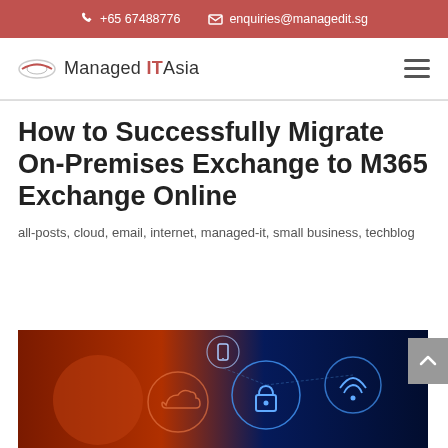+65 67488776  enquiries@managedit.sg
[Figure (logo): Managed IT Asia logo with oval swoosh graphic and text 'Managed IT Asia']
How to Successfully Migrate On-Premises Exchange to M365 Exchange Online
all-posts, cloud, email, internet, managed-it, small business, techblog
[Figure (photo): Hero image showing digital network security concept with glowing padlock, cloud, WiFi and device icons on dark blue and red background]